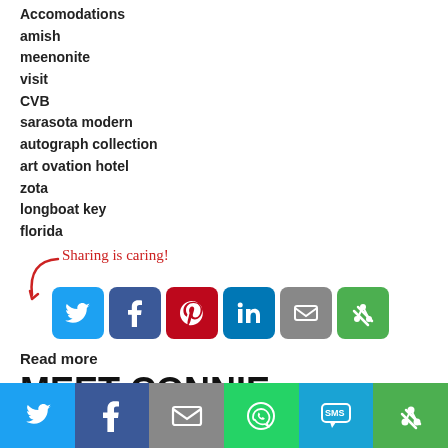Accomodations
amish
meenonite
visit
CVB
sarasota modern
autograph collection
art ovation hotel
zota
longboat key
florida
[Figure (infographic): Sharing is caring! text with arrow and social media share buttons: Twitter, Facebook, Pinterest, LinkedIn, Email, More]
Read more
MEET CONNIE KOPECKY
[Figure (infographic): Footer social share bar with icons: Twitter, Facebook, Email, WhatsApp, SMS, More]